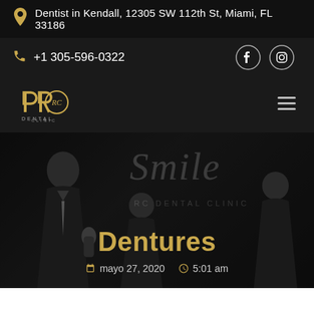Dentist in Kendall, 12305 SW 112th St, Miami, FL 33186
+1 305-596-0322
[Figure (logo): RC Dental Clinic logo — stylized letters with DENTAL CLINIC text below]
[Figure (photo): Hero background with dental clinic staff smiling, overlaid with 'Smile' script watermark and 'RC Dental Clinic' text]
Dentures
mayo 27, 2020   5:01 am